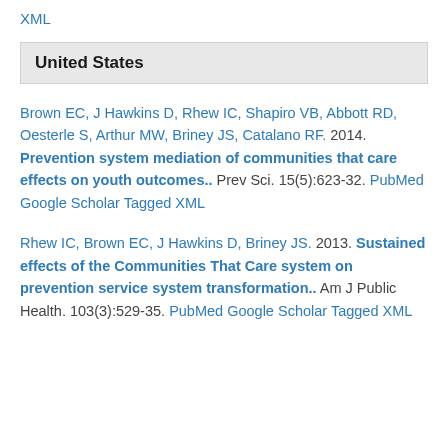XML
United States
Brown EC, J Hawkins D, Rhew IC, Shapiro VB, Abbott RD, Oesterle S, Arthur MW, Briney JS, Catalano RF. 2014. Prevention system mediation of communities that care effects on youth outcomes.. Prev Sci. 15(5):623-32. PubMed Google Scholar Tagged XML
Rhew IC, Brown EC, J Hawkins D, Briney JS. 2013. Sustained effects of the Communities That Care system on prevention service system transformation.. Am J Public Health. 103(3):529-35. PubMed Google Scholar Tagged XML